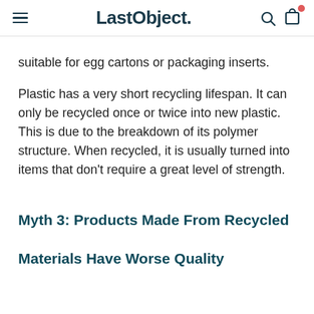LastObject.
suitable for egg cartons or packaging inserts.
Plastic has a very short recycling lifespan. It can only be recycled once or twice into new plastic. This is due to the breakdown of its polymer structure. When recycled, it is usually turned into items that don't require a great level of strength.
Myth 3: Products Made From Recycled Materials Have Worse Quality